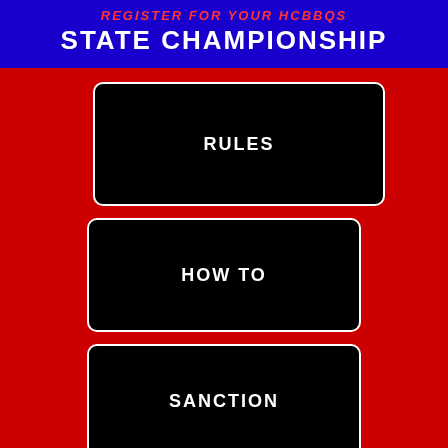REGISTER FOR YOUR HCBBQS STATE CHAMPIONSHIP
[Figure (infographic): Black button box with white border and white text reading RULES]
[Figure (infographic): Black button box with white border and white text reading HOW TO]
[Figure (infographic): Black button box with white border and white text reading SANCTION]
[Figure (infographic): Black button box with white border and white text reading VOLUNTEER]